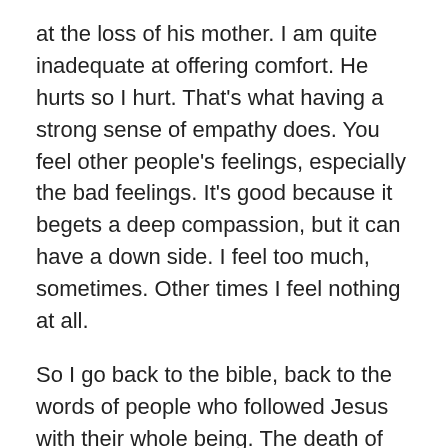at the loss of his mother. I am quite inadequate at offering comfort. He hurts so I hurt. That's what having a strong sense of empathy does. You feel other people's feelings, especially the bad feelings. It's good because it begets a deep compassion, but it can have a down side. I feel too much, sometimes. Other times I feel nothing at all.
So I go back to the bible, back to the words of people who followed Jesus with their whole being. The death of self that St. Francis is talking about in that first quote, above, is not just dying to the old selfish, sinful ways, it's also about dying to the old negative thinking patterns – that I am useless, unworthy, a waste of space. These are all the feelings that have been floating around my head and the worst bit is that they stop me from being able to think straight. I have the desire to be caring for my family and looking after the house, but somehow I just can't do it.